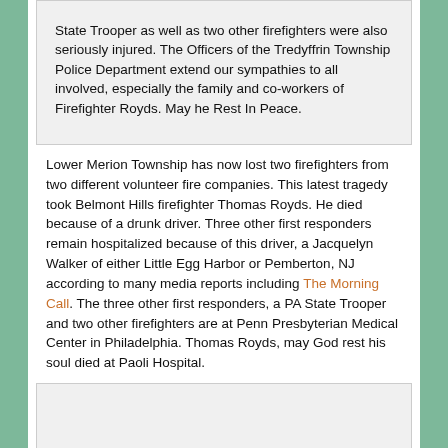State Trooper as well as two other firefighters were also seriously injured. The Officers of the Tredyffrin Township Police Department extend our sympathies to all involved, especially the family and co-workers of Firefighter Royds. May he Rest In Peace.
Lower Merion Township has now lost two firefighters from two different volunteer fire companies. This latest tragedy took Belmont Hills firefighter Thomas Royds. He died because of a drunk driver. Three other first responders remain hospitalized because of this driver, a Jacquelyn Walker of either Little Egg Harbor or Pemberton, NJ according to many media reports including The Morning Call. The three other first responders, a PA State Trooper and two other firefighters are at Penn Presbyterian Medical Center in Philadelphia. Thomas Royds, may God rest his soul died at Paoli Hospital.